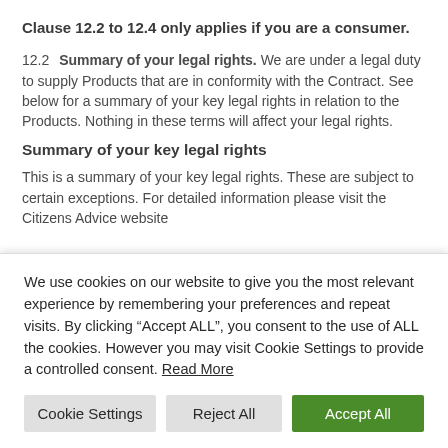Clause 12.2 to 12.4 only applies if you are a consumer.
12.2  Summary of your legal rights. We are under a legal duty to supply Products that are in conformity with the Contract. See below for a summary of your key legal rights in relation to the Products. Nothing in these terms will affect your legal rights.
Summary of your key legal rights
This is a summary of your key legal rights. These are subject to certain exceptions. For detailed information please visit the Citizens Advice website
We use cookies on our website to give you the most relevant experience by remembering your preferences and repeat visits. By clicking “Accept ALL”, you consent to the use of ALL the cookies. However you may visit Cookie Settings to provide a controlled consent. Read More